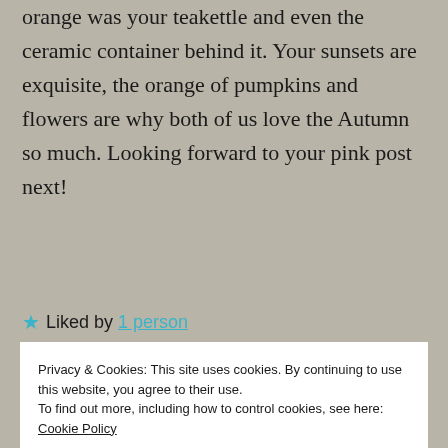orange was your teakettle and even the ceramic container behind it. Your sunsets are exquisite, the orange of pumpkins and flowers are why both of us love the Autumn so much. Looking forward to your pink post next!
★ Liked by 1 person
Privacy & Cookies: This site uses cookies. By continuing to use this website, you agree to their use.
To find out more, including how to control cookies, see here: Cookie Policy
Close and accept
that big of fan of orange until I got